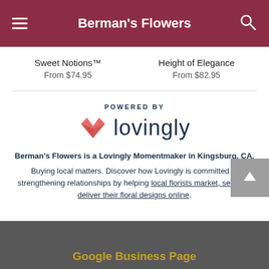Berman's Flowers
Sweet Notions™
From $74.95
Height of Elegance
From $82.95
[Figure (logo): Lovingly logo with heart icon and text 'lovingly', above text 'POWERED BY']
Berman's Flowers is a Lovingly Momentmaker in Kingsburg, CA.
Buying local matters. Discover how Lovingly is committed to strengthening relationships by helping local florists market, sell, and deliver their floral designs online.
Google Business Page